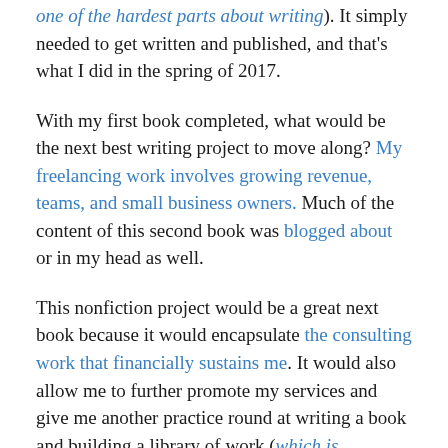one of the hardest parts about writing). It simply needed to get written and published, and that's what I did in the spring of 2017.
With my first book completed, what would be the next best writing project to move along? My freelancing work involves growing revenue, teams, and small business owners. Much of the content of this second book was blogged about or in my head as well.
This nonfiction project would be a great next book because it would encapsulate the consulting work that financially sustains me. It would also allow me to further promote my services and give me another practice round at writing a book and building a library of work (which is important for authors).
By the time I publish my second book, I'll be five years